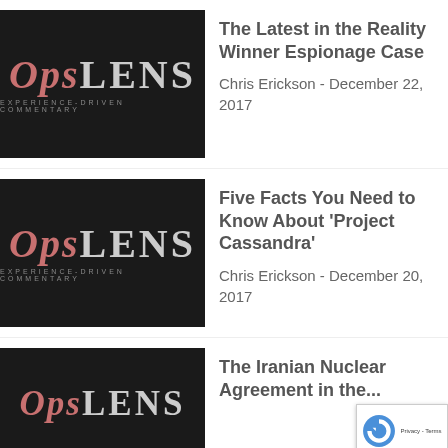[Figure (logo): OpsLens logo - black background with OPS in pink/salmon italic serif and LENS in light gray bold serif, tagline EXPERIENCE-DRIVEN COMMENTARY below]
The Latest in the Reality Winner Espionage Case
Chris Erickson - December 22, 2017
[Figure (logo): OpsLens logo - black background with OPS in pink/salmon italic serif and LENS in light gray bold serif, tagline EXPERIENCE-DRIVEN COMMENTARY below]
Five Facts You Need to Know About 'Project Cassandra'
Chris Erickson - December 20, 2017
[Figure (logo): OpsLens logo - partial, black background with OPS in pink/salmon italic serif and LENS in light gray bold serif]
The Iranian Nuclear Agreement in the...